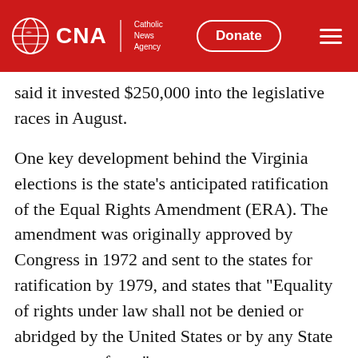CNA | Catholic News Agency — Donate
said it invested $250,000 into the legislative races in August.
One key development behind the Virginia elections is the state's anticipated ratification of the Equal Rights Amendment (ERA). The amendment was originally approved by Congress in 1972 and sent to the states for ratification by 1979, and states that "Equality of rights under law shall not be denied or abridged by the United States or by any State on account of sex."
However, the language of the amendment is